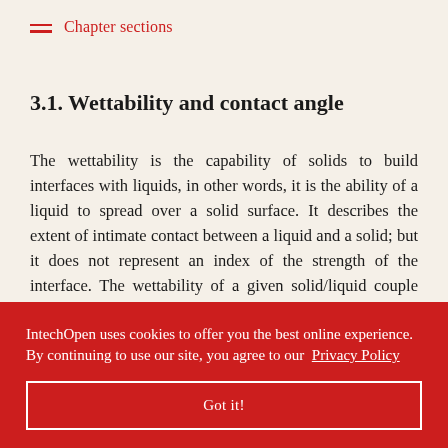Chapter sections
3.1. Wettability and contact angle
The wettability is the capability of solids to build interfaces with liquids, in other words, it is the ability of a liquid to spread over a solid surface. It describes the extent of intimate contact between a liquid and a solid; but it does not represent an index of the strength of the interface. The wettability of a given solid/liquid couple can be measured by considering [text continues] ...sting of a [text continues] ...iven [text continues] ...g wettability [text continues] ...echnique [text continues] ...G, however, [text continues] ...true and
IntechOpen uses cookies to offer you the best online experience. By continuing to use our site, you agree to our  Privacy Policy
Got it!